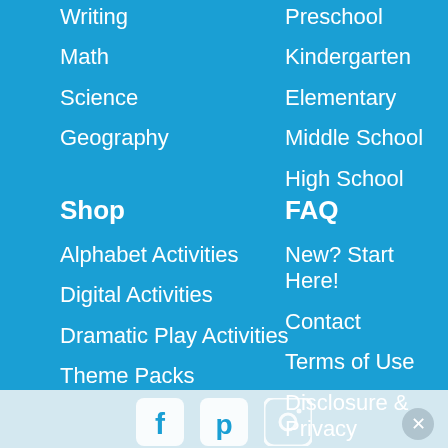Writing
Math
Science
Geography
Preschool
Kindergarten
Elementary
Middle School
High School
Shop
FAQ
Alphabet Activities
Digital Activities
Dramatic Play Activities
Theme Packs
New? Start Here!
Contact
Terms of Use
Disclosure & Privacy
[Figure (illustration): Social media icons: Facebook, Pinterest, Instagram]